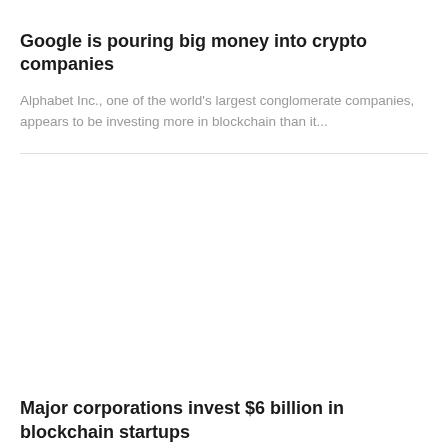Google is pouring big money into crypto companies
Alphabet Inc., one of the world's largest conglomerate companies, appears to be investing more in blockchain than it...
Major corporations invest $6 billion in blockchain startups